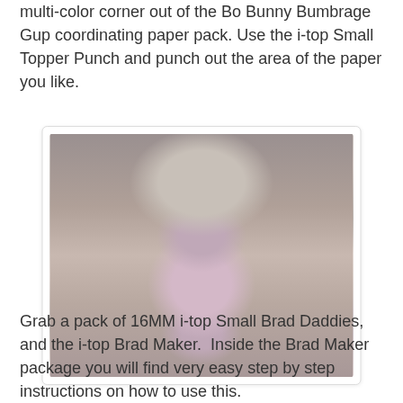multi-color corner out of the Bo Bunny Bumbrage Gup coordinating paper pack. Use the i-top Small Topper Punch and punch out the area of the paper you like.
[Figure (photo): Close-up photograph of a brad maker tool with metallic silver body and pink brad ball visible, showing the mechanism used to set brads.]
Grab a pack of 16MM i-top Small Brad Daddies, and the i-top Brad Maker.  Inside the Brad Maker package you will find very easy step by step instructions on how to use this.